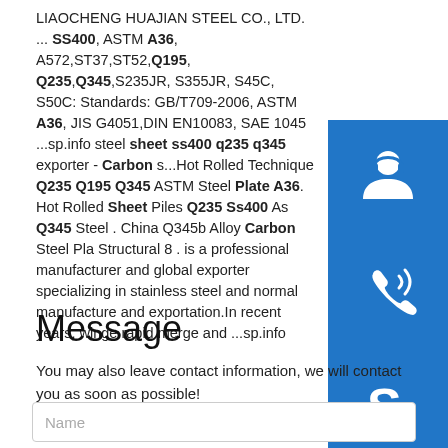LIAOCHENG HUAJIAN STEEL CO., LTD. ... SS400, ASTM A36, A572,ST37,ST52,Q195, Q235,Q345,S235JR, S355JR, S45C, S50C: Standards: GB/T709-2006, ASTM A36, JIS G4051,DIN EN10083, SAE 1045 ...sp.info steel sheet ss400 q235 q345 exporter - Carbon s...Hot Rolled Technique Q235 Q195 Q345 ASTM Steel Plate A36. Hot Rolled Sheet Piles Q235 Ss400 As Q345 Steel . China Q345b Alloy Carbon Steel Pla Structural 8 . is a professional manufacturer and global exporter specializing in stainless steel and normal manufacture and exportation.In recent years, winge rapid merge and ...sp.info
[Figure (other): Three blue square buttons stacked vertically on the right side: customer service/headset icon, phone/call icon, Skype icon]
Message
You may also leave contact information, we will contact you as soon as possible!